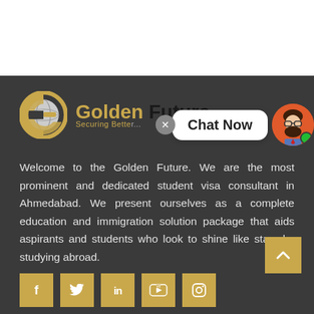[Figure (logo): Golden Future logo with G globe icon, golden and dark text reading 'Golden Future', tagline 'Securing Better...']
[Figure (screenshot): Chat Now popup with close button, white speech bubble, and avatar of bearded man with green online indicator]
Welcome to the Golden Future. We are the most prominent and dedicated student visa consultant in Ahmedabad. We present ourselves as a complete education and immigration solution package that aids aspirants and students who look to shine like stars by studying abroad.
[Figure (infographic): Back to top arrow button (gold/tan square with upward chevron)]
[Figure (infographic): Social media icon bar with Facebook, Twitter, LinkedIn, YouTube, and Instagram icons in golden square buttons]